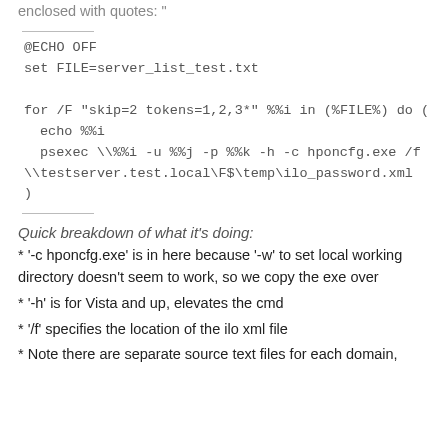enclosed with quotes: "
@ECHO OFF
set FILE=server_list_test.txt

for /F "skip=2 tokens=1,2,3*" %%i in (%FILE%) do (
  echo %%i
  psexec \\%%i -u %%j -p %%k -h -c hponcfg.exe /f \\testserver.test.local\F$\temp\ilo_password.xml
)
Quick breakdown of what it's doing:
* '-c hponcfg.exe' is in here because '-w' to set local working directory doesn't seem to work, so we copy the exe over
* '-h' is for Vista and up, elevates the cmd
* '/f' specifies the location of the ilo xml file
* Note there are separate source text files for each domain,